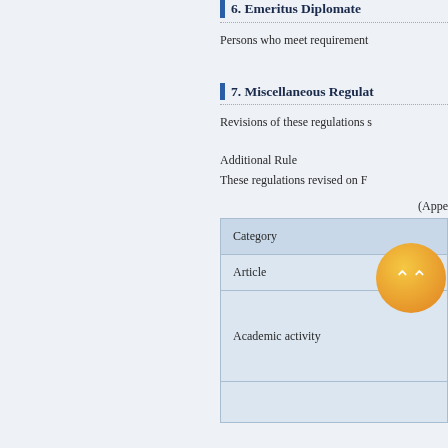6. Emeritus Diplomate
Persons who meet requirement
7. Miscellaneous Regulations
Revisions of these regulations s
Additional Rule
These regulations revised on F
(Appe
| Category |
| --- |
| Article |
| Academic activity |